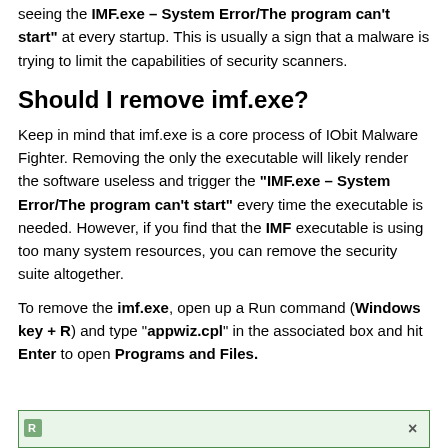seeing the "IMF.exe – System Error/The program can't start" at every startup. This is usually a sign that a malware is trying to limit the capabilities of security scanners.
Should I remove imf.exe?
Keep in mind that imf.exe is a core process of IObit Malware Fighter. Removing the only the executable will likely render the software useless and trigger the "IMF.exe – System Error/The program can't start" every time the executable is needed. However, if you find that the IMF executable is using too many system resources, you can remove the security suite altogether.
To remove the imf.exe, open up a Run command (Windows key + R) and type "appwiz.cpl" in the associated box and hit Enter to open Programs and Files.
[Figure (screenshot): Bottom portion of a Windows Run dialog box with a green title bar, showing a text input area and an X close button]